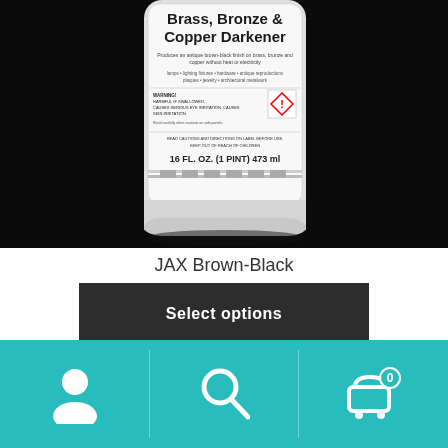[Figure (photo): Close-up photo of a white bottle of JAX Brass, Bronze & Copper Darkener product. The label shows the product name, description ('Produces an antique brown-black finish on brass, bronze and copper without heat or electricity'), uses (lamps, lighting fixtures, hardware, antique reproductions, plaques, jewelry, architectural metalwork), a WARNING section about being harmful if swallowed and causing serious eye irritation, a GHS hazard diamond symbol, caution text to read directions before use, and the size '16 FL. OZ. (1 PINT) 473 ml'. Background is black.]
JAX Brown-Black
Select options